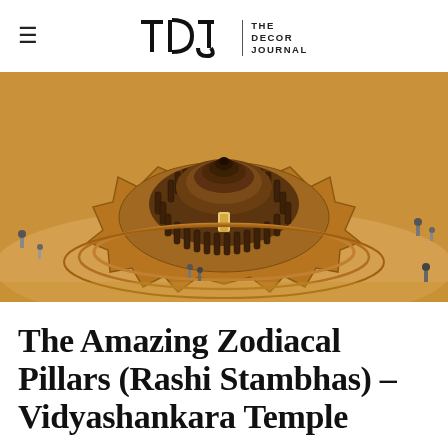TDJ | THE DECOR JOURNAL
[Figure (photo): Aerial view of Vidyashankara Temple showing circular zodiacal pillars (Rashi Stambhas) arrangement, photographed from above, with small figures of people visible around the stone structure. The temple shows concentric circular steps in warm brown tones.]
The Amazing Zodiacal Pillars (Rashi Stambhas) – Vidyashankara Temple